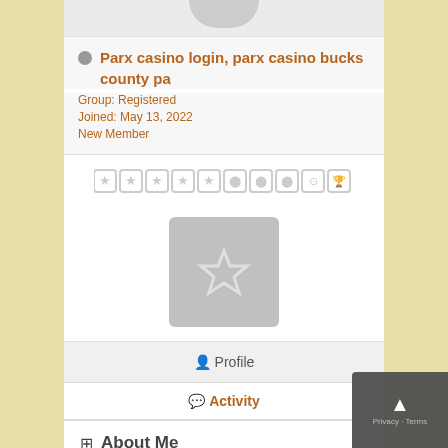[Figure (screenshot): Partial profile avatar/photo at top, cropped circle shape]
Parx casino login, parx casino bucks county pa
Group: Registered
Joined: May 13, 2022
New Member
[Figure (illustration): Row of badge/achievement icons with star and trophy symbols]
[Figure (illustration): Gray box with a star icon in the center]
Profile
Activity
About Me
Parx casino login